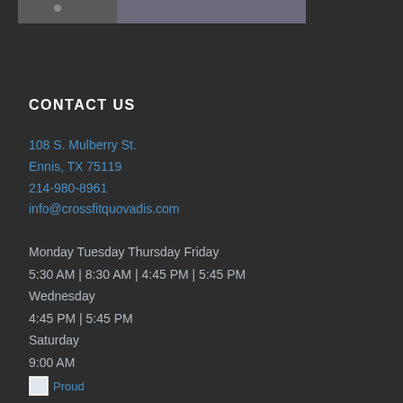[Figure (photo): Partial view of fitness/sports photo strip at top of page]
CONTACT US
108 S. Mulberry St.
Ennis, TX 75119
214-980-8961
info@crossfitquovadis.com
Monday Tuesday Thursday Friday
5:30 AM | 8:30 AM | 4:45 PM | 5:45 PM
Wednesday
4:45 PM | 5:45 PM
Saturday
9:00 AM
[Figure (illustration): Proud logo/badge image at bottom left]